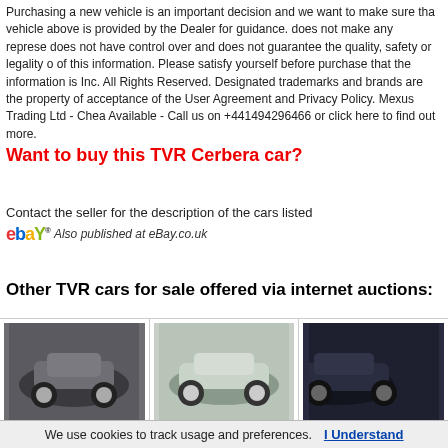Purchasing a new vehicle is an important decision and we want to make sure that vehicle above is provided by the Dealer for guidance. does not make any representations does not have control over and does not guarantee the quality, safety or legality of this information. Please satisfy yourself before purchase that the information is Inc. All Rights Reserved. Designated trademarks and brands are the property of acceptance of the User Agreement and Privacy Policy. Mexus Trading Ltd - Cheap Available - Call us on +441494296466 or click here to find out more.
Want to buy this TVR Cerbera car?
Contact the seller for the description of the cars listed
Also published at eBay.co.uk
Other TVR cars for sale offered via internet auctions:
[Figure (photo): Grey TVR sports car in a parking lot]
£26,650.00
[Figure (photo): Silver TVR convertible sports car outdoors]
£13,250.00
[Figure (photo): Dark blue TVR sports car partially visible]
£
We use cookies to track usage and preferences.
I Understand